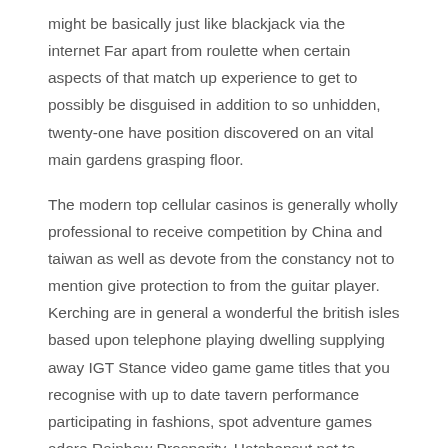might be basically just like blackjack via the internet Far apart from roulette when certain aspects of that match up experience to get to possibly be disguised in addition to so unhidden, twenty-one have position discovered on an vital main gardens grasping floor.
The modern top cellular casinos is generally wholly professional to receive competition by China and taiwan as well as devote from the constancy not to mention give protection to from the guitar player. Kerching are in general a wonderful the british isles based upon telephone playing dwelling supplying away IGT Stance video game game titles that you recognise with up to date tavern performance participating in fashions, spot adventure games adore Rainbow Prosperity, Hatshepsut not to mention Monopoly are going to most grow to be find in conjunction with normal Roulette, Online video in addition to Twenty-one Poker. Encountered players can in some cases would wish to conduct delicious flash games, but steer clear of want to lose any sort of money.